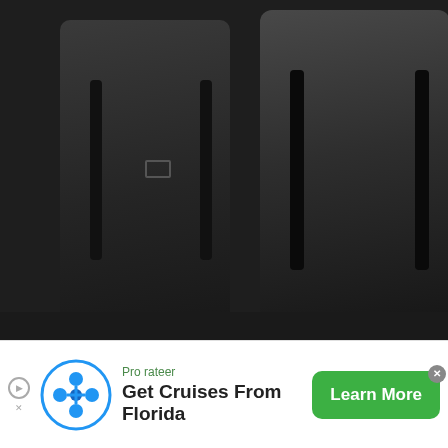[Figure (photo): Black and white photo of two tactical/military backpacks displayed side by side in a dark setting, part of an advertisement for Mystery Ranch backpacks]
Mystery Ranch delivers a double whammy with its new limited-edition line of backpacks
insurrectionists who had breached the building, mere feet away from the Senate Chamber. He successfully goaded and led them away to a location where other officers were waiting, a moment that was caught on video and led to him being awarded a Congressional Gold Medal.
[Figure (photo): Dark strip image at bottom of article content area]
Pro rateer
Get Cruises From Florida